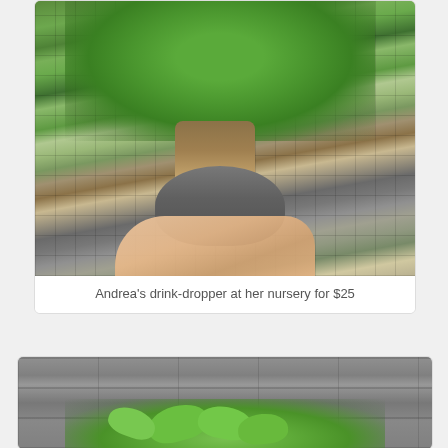[Figure (photo): A bonsai-style ficus/ginseng plant in a gray nursery pot sitting on a metal grate shelf in a greenhouse. A hand is holding the pot from below. The plant has an exposed multi-trunk root structure and lush green leaves.]
Andrea's drink-dropper at her nursery for $25
[Figure (photo): Partial view of another plant with bright green leaves against a concrete block wall background, partially cropped at the bottom of the page.]